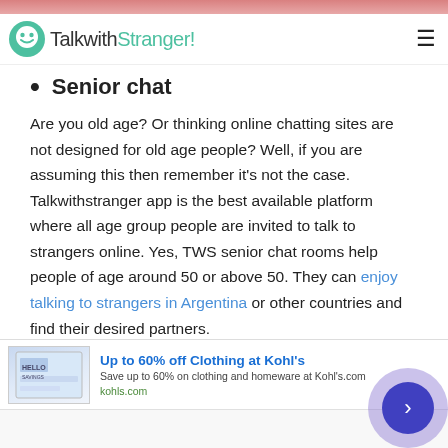TalkwithStranger!
Senior chat
Are you old age? Or thinking online chatting sites are not designed for old age people? Well, if you are assuming this then remember it's not the case. Talkwithstranger app is the best available platform where all age group people are invited to talk to strangers online. Yes, TWS senior chat rooms help people of age around 50 or above 50. They can enjoy talking to strangers in Argentina or other countries and find their desired partners.
[Figure (screenshot): Advertisement banner for Kohl's: Up to 60% off Clothing at Kohl's. Save up to 60% on clothing and homeware at Kohl's.com. kohls.com]